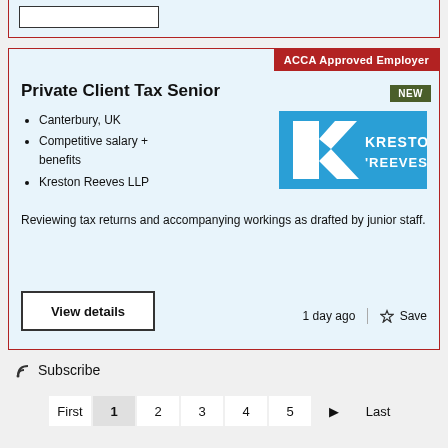[Figure (other): Partial top card with a white rectangle input/box visible, light blue background with red border]
ACCA Approved Employer
Private Client Tax Senior
NEW
Canterbury, UK
Competitive salary + benefits
Kreston Reeves LLP
[Figure (logo): Kreston Reeves logo — blue background with white K arrow icon and KRESTON REEVES text]
Reviewing tax returns and accompanying workings as drafted by junior staff.
View details
1 day ago
Save
Subscribe
First  1  2  3  4  5  ▶  Last